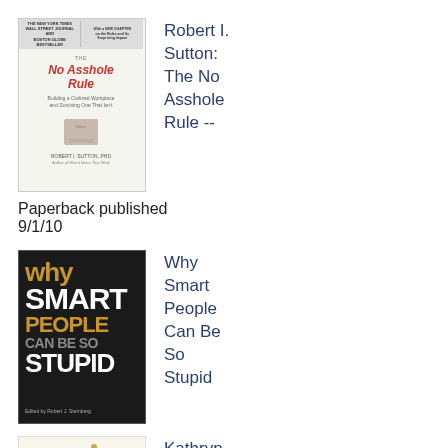[Figure (illustration): Book cover of 'The No Asshole Rule' by Robert I. Sutton, PhD. White/cream background with red italic title text and a small notebook image.]
Robert I. Sutton: The No Asshole Rule --
Paperback published 9/1/10
[Figure (illustration): Book cover of 'Why Smart People Can Be So Stupid'. Dark/black background with yellow and white bold text.]
Why Smart People Can Be So Stupid
[Figure (illustration): Partial book cover showing the letter R and a diagonal golden line/arrow, light cream background.]
Kathryn Schulz: